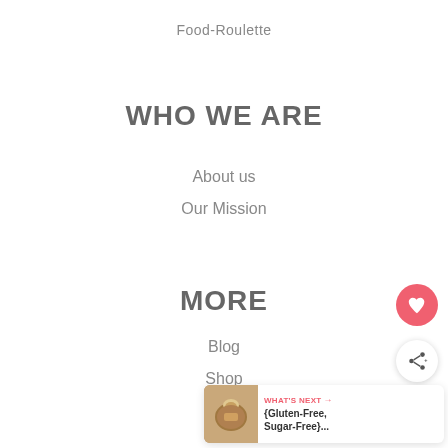Food-Roulette
WHO WE ARE
About us
Our Mission
MORE
Blog
Shop
[Figure (other): Pink circular heart/favorite button]
[Figure (other): White circular share button with network icon]
[Figure (other): What's Next widget showing food image thumbnail and text: WHAT'S NEXT → {Gluten-Free, Sugar-Free}...]